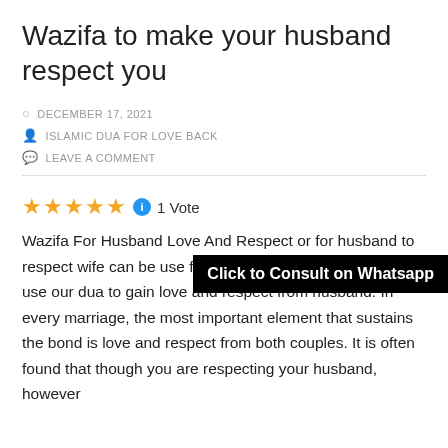Wazifa to make your husband respect you
DECEMBER 17, 2021
ISLAMIC DUA FOR LOVE BACK
LEAVE A COMMENT
Click to Consult on Whatsapp
★★★★★ ℹ 1 Vote
Wazifa For Husband Love And Respect or for husband to respect wife can be use for husband attention. You can use our dua to gain love and respect from husband. In every marriage, the most important element that sustains the bond is love and respect from both couples. It is often found that though you are respecting your husband, however...